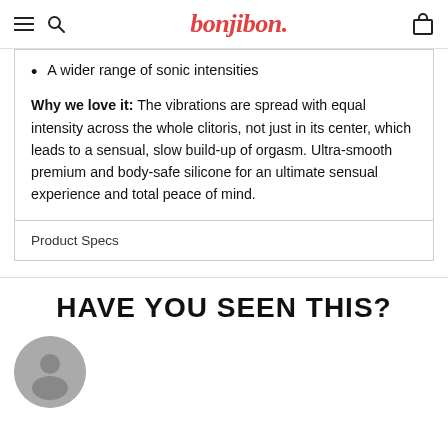bonjibon.
A wider range of sonic intensities
Why we love it: The vibrations are spread with equal intensity across the whole clitoris, not just in its center, which leads to a sensual, slow build-up of orgasm. Ultra-smooth premium and body-safe silicone for an ultimate sensual experience and total peace of mind.
Product Specs
HAVE YOU SEEN THIS?